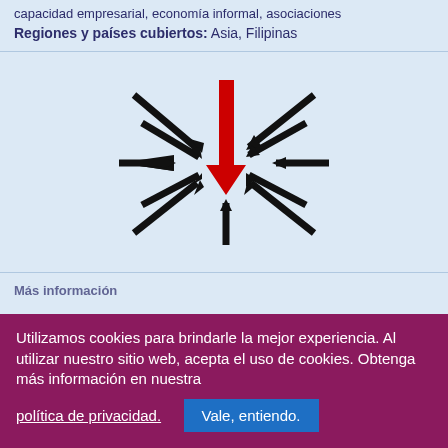capacidad empresarial, economía informal, asociaciones
Regiones y países cubiertos: Asia, Filipinas
[Figure (illustration): Diagram showing multiple black arrows converging toward a central point from all directions, with one large red arrow pointing downward from the top into the center.]
Utilizamos cookies para brindarle la mejor experiencia. Al utilizar nuestro sitio web, acepta el uso de cookies. Obtenga más información en nuestra política de privacidad.
Vale, entiendo.